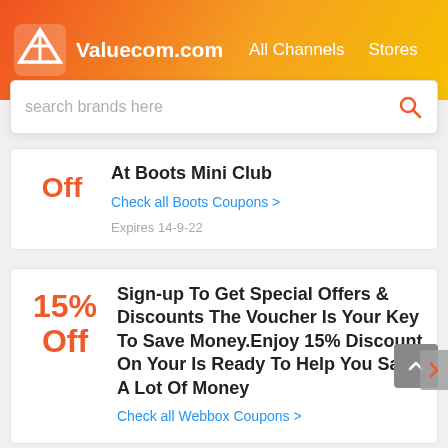Valuecom.com  All Channels  Stores
search brands here
At Boots Mini Club
Check all Boots Coupons >
Expires 14-9-22
Sign-up To Get Special Offers & Discounts The Voucher Is Your Key To Save Money.Enjoy 15% Discount On Your Is Ready To Help You Save A Lot Of Money
Check all Webbox Coupons >